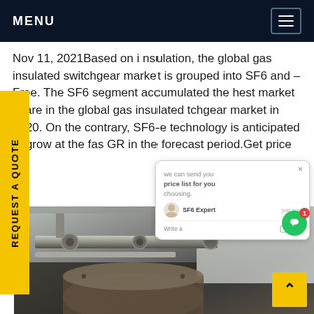MENU
Nov 11, 2021Based on i nsulation, the global gas insulated switchgear market is grouped into SF6 and –Free. The SF6 segment accumulated the hest market share in the global gas insulated tchgear market in 2020. On the contrary, SF6-e technology is anticipated to grow at the fas GR in the forecast period.Get price
[Figure (screenshot): Chat popup overlay showing 'we can send you price list for you choosing.' with SF6 Expert avatar and 'just now' timestamp and Write a message input]
[Figure (photo): Industrial gas insulated switchgear equipment photographed in low light conditions]